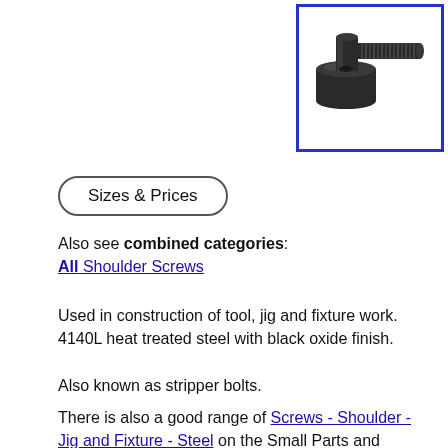[Figure (photo): Photograph of a shoulder screw (stripper bolt) — a dark steel bolt with a wide cylindrical shoulder and threaded end, shown against a white background inside a blue-bordered rectangle.]
Sizes & Prices
Also see combined categories:
All Shoulder Screws
Used in construction of tool, jig and fixture work. 4140L heat treated steel with black oxide finish.
Also known as stripper bolts.
There is also a good range of Screws - Shoulder - Jig and Fixture - Steel on the Small Parts and Bearings website.